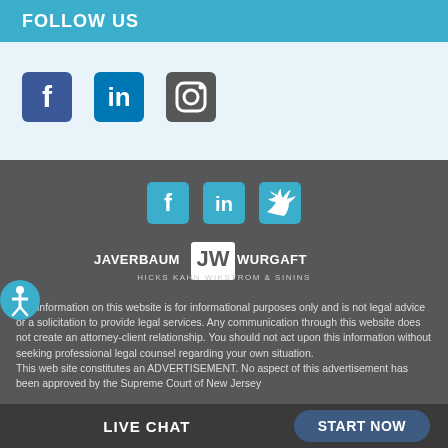FOLLOW US
[Figure (illustration): Social media icons: Facebook, LinkedIn, Instagram (top section, teal/dark on light blue background)]
[Figure (illustration): Social media icons: Facebook, LinkedIn, Twitter (bottom section, teal on dark gray background)]
[Figure (logo): Javerbaum Wurgaft Hicks Kahn Wikstrom & Sinins law firm logo in white on dark gray background]
The information on this website is for informational purposes only and is not legal advice or a solicitation to provide legal services. Any communication through this website does not create an attorney-client relationship. You should not act upon this information without seeking professional legal counsel regarding your own situation. This web site constitutes an ADVERTISEMENT. No aspect of this advertisement has been approved by the Supreme Court of New Jersey.
LIVE CHAT   START NOW